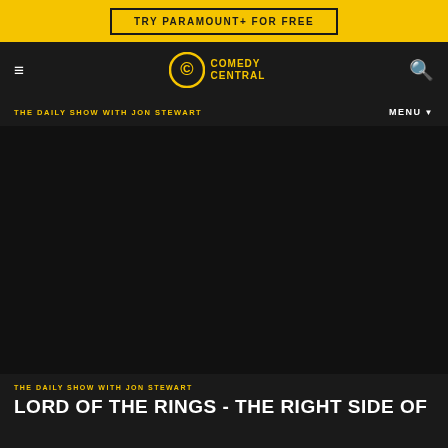TRY PARAMOUNT+ FOR FREE
[Figure (logo): Comedy Central logo with navigation bar showing hamburger menu and search icon]
THE DAILY SHOW WITH JON STEWART
MENU
[Figure (screenshot): Dark video player area, black content area]
THE DAILY SHOW WITH JON STEWART
LORD OF THE RINGS - THE RIGHT SIDE OF HISTORY